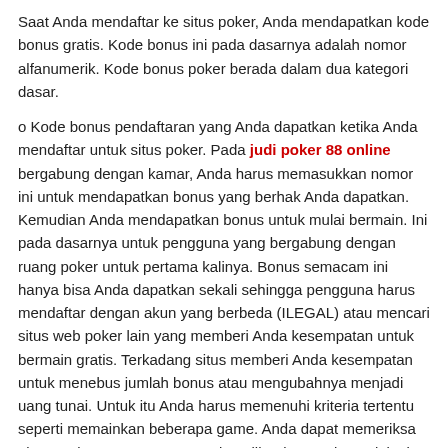Saat Anda mendaftar ke situs poker, Anda mendapatkan kode bonus gratis. Kode bonus ini pada dasarnya adalah nomor alfanumerik. Kode bonus poker berada dalam dua kategori dasar.
o Kode bonus pendaftaran yang Anda dapatkan ketika Anda mendaftar untuk situs poker. Pada judi poker 88 online bergabung dengan kamar, Anda harus memasukkan nomor ini untuk mendapatkan bonus yang berhak Anda dapatkan. Kemudian Anda mendapatkan bonus untuk mulai bermain. Ini pada dasarnya untuk pengguna yang bergabung dengan ruang poker untuk pertama kalinya. Bonus semacam ini hanya bisa Anda dapatkan sekali sehingga pengguna harus mendaftar dengan akun yang berbeda (ILEGAL) atau mencari situs web poker lain yang memberi Anda kesempatan untuk bermain gratis. Terkadang situs memberi Anda kesempatan untuk menebus jumlah bonus atau mengubahnya menjadi uang tunai. Untuk itu Anda harus memenuhi kriteria tertentu seperti memainkan beberapa game. Anda dapat memeriksa akun Anda secara teratur untuk melihat berapa banyak lagi yang harus Anda mainkan sebelum Anda dapat mengubahnya menjadi uang tunai. Ini adalah skenario tanpa risiko bagi Anda. Anda mendapatkan keuntungan dalam setiap periode. Dan kamu bisa'
o Bonus poker semacam ini tidak diberikan saat mendaftar. Bonus ini untuk anggota setia situs yang bermain secara teratur. Ini dikenal sebagai “Bonus isi ulang” dan diberikan setiap bulan atau beberapa basis lainnya. Ada berbagai batasan dalam penarikan jenis bonus ini